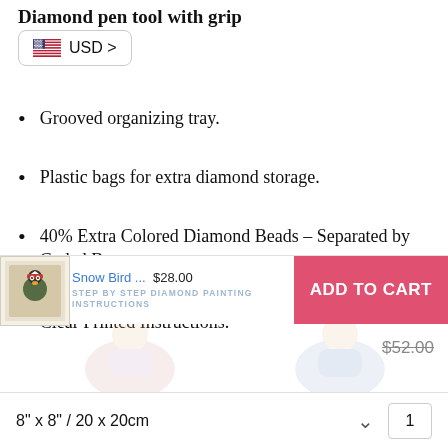Diamond pen tool with grip
[Figure (other): US flag currency selector button showing USD >]
Grooved organizing tray.
Plastic bags for extra diamond storage.
40% Extra Colored Diamond Beads – Separated by Coded Bags
Clear Printed Instructions.
[Figure (other): Product thumbnail image of Snow Bird diamond painting kit with christmas bird wearing santa hat]
Snow Bird ... $28.00
STEP BY STEP DIAMOND PAINTING INSTRUCTIONS
ADD TO CART
$52.00
[Figure (illustration): Faded watermark illustrations of cartoon girls doing diamond painting]
8" x 8" / 20 x 20cm
1